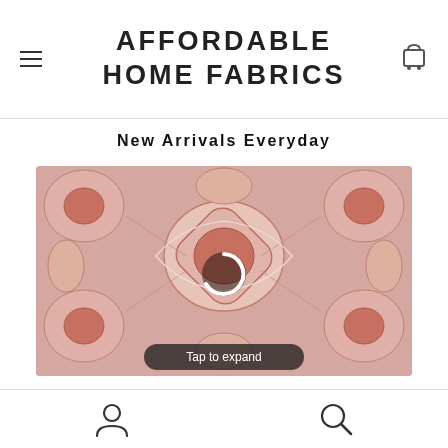AFFORDABLE HOME FABRICS
New Arrivals Everyday
[Figure (photo): Close-up photo of a decorative pink and cream floral/medallion patterned rug or fabric with a loading spinner overlay and 'Tap to expand' button at the bottom]
User icon | Search icon